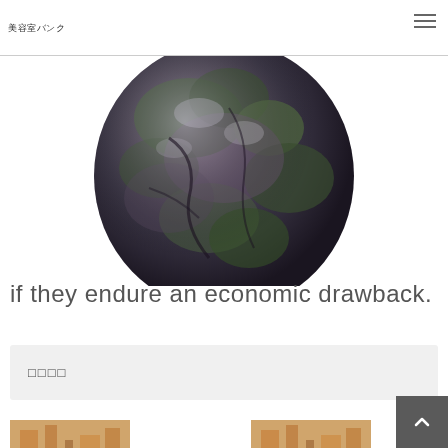美容室バンク
[Figure (photo): A dark spherical globe-like object with green and purple mossy or geological textures, photographed against a white background, cropped to show roughly the top three-quarters of the sphere.]
if they endure an economic drawback.
□□□□
[Figure (photo): Interior of a hair salon or beauty salon with orange accents, shelving, and salon chairs, warm lighting.]
[Figure (photo): Interior of a hair salon or beauty salon with orange accents and salon chairs, similar warm-toned interior.]